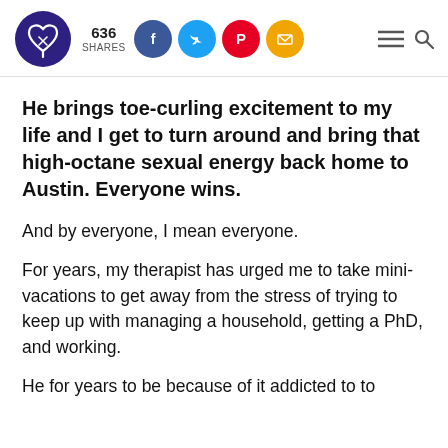636 SHARES [social share icons: Facebook, Twitter, Pinterest, Email] [menu and search icons]
He brings toe-curling excitement to my life and I get to turn around and bring that high-octane sexual energy back home to Austin. Everyone wins.
And by everyone, I mean everyone.
For years, my therapist has urged me to take mini-vacations to get away from the stress of trying to keep up with managing a household, getting a PhD, and working.
He for years to be because of it addicted to take...